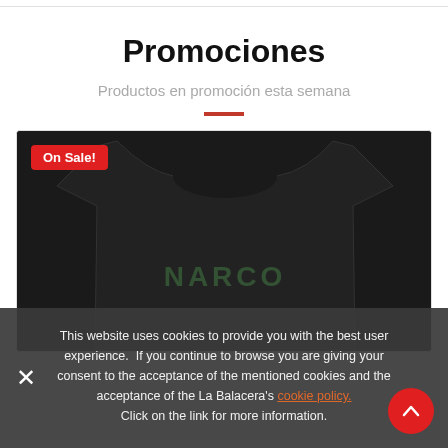Promociones
Productos en promoción esta semana
[Figure (photo): Black t-shirt with 'NARCO' text graphic, shown on a product card with 'On Sale!' badge in the top left corner]
This website uses cookies to provide you with the best user experience. If you continue to browse you are giving your consent to the acceptance of the mentioned cookies and the acceptance of the La Balacera's cookie policy. Click on the link for more information.